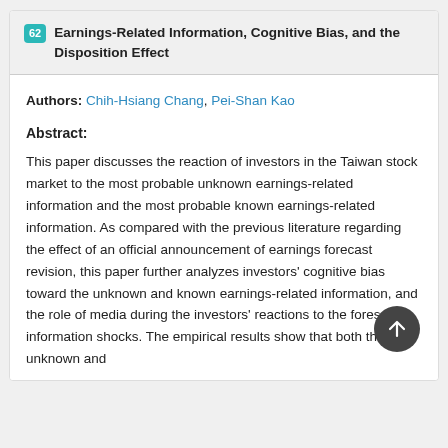62 Earnings-Related Information, Cognitive Bias, and the Disposition Effect
Authors: Chih-Hsiang Chang, Pei-Shan Kao
Abstract:
This paper discusses the reaction of investors in the Taiwan stock market to the most probable unknown earnings-related information and the most probable known earnings-related information. As compared with the previous literature regarding the effect of an official announcement of earnings forecast revision, this paper further analyzes investors' cognitive bias toward the unknown and known earnings-related information, and the role of media during the investors' reactions to the foresaid information shocks. The empirical results show that both the unknown and